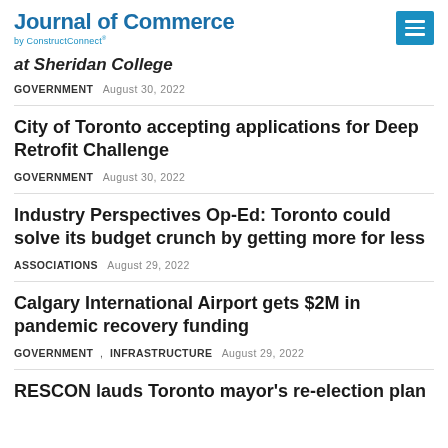Journal of Commerce by ConstructConnect
at Sheridan College
GOVERNMENT   August 30, 2022
City of Toronto accepting applications for Deep Retrofit Challenge
GOVERNMENT   August 30, 2022
Industry Perspectives Op-Ed: Toronto could solve its budget crunch by getting more for less
ASSOCIATIONS   August 29, 2022
Calgary International Airport gets $2M in pandemic recovery funding
GOVERNMENT , INFRASTRUCTURE   August 29, 2022
RESCON lauds Toronto mayor's re-election plan